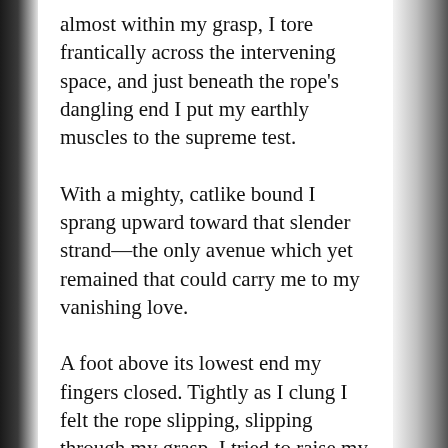almost within my grasp, I tore frantically across the intervening space, and just beneath the rope's dangling end I put my earthly muscles to the supreme test.
With a mighty, catlike bound I sprang upward toward that slender strand—the only avenue which yet remained that could carry me to my vanishing love.
A foot above its lowest end my fingers closed. Tightly as I clung I felt the rope slipping, slipping through my grasp. I tried to raise my free hand to take a second hold above my first, but the change of position that resulted caused me to slip more rapidly toward the end of the rope.